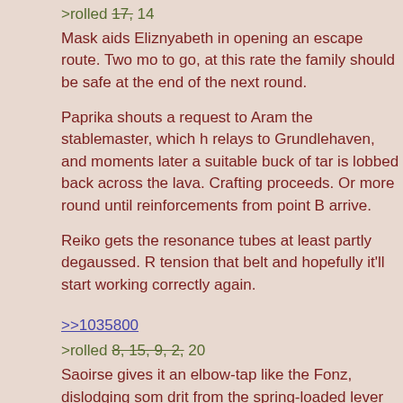>rolled 17, 14
Mask aids Eliznyabeth in opening an escape route. Two mo to go, at this rate the family should be safe at the end of the next round.
Paprika shouts a request to Aram the stablemaster, which h relays to Grundlehaven, and moments later a suitable buck of tar is lobbed back across the lava. Crafting proceeds. Or more round until reinforcements from point B arrive.
Reiko gets the resonance tubes at least partly degaussed. R tension that belt and hopefully it'll start working correctly again.
>>1035800
>rolled 8, 15, 9, 2, 20
Saoirse gives it an elbow-tap like the Fonz, dislodging som drit from the spring-loaded lever which supports the drive belt's tensioning wheel. Volcano tamer's sound profile sett back down as a soothing purr, rising into an exultant choru the bulky cypher is installed and begins augmenting it.
Molten rock is slurped back uphill to the north. House at p A is still on fire, but could plausibly be extinguished by bucket brigade. Stables at point D are still surrounded by a